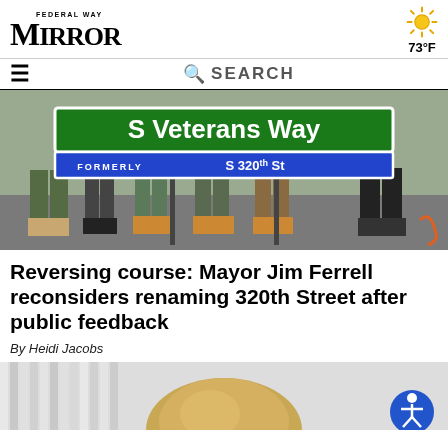Federal Way Mirror
73°F
[Figure (photo): Street sign reading 'S Veterans Way' in white text on green background, with blue bar below reading 'FORMERLY S 320th St'. People's legs visible standing around the sign.]
Reversing course: Mayor Jim Ferrell reconsiders renaming 320th Street after public feedback
By Heidi Jacobs
[Figure (photo): Partial view of a person with blonde hair against a white slatted background. Accessibility icon button visible in lower right.]